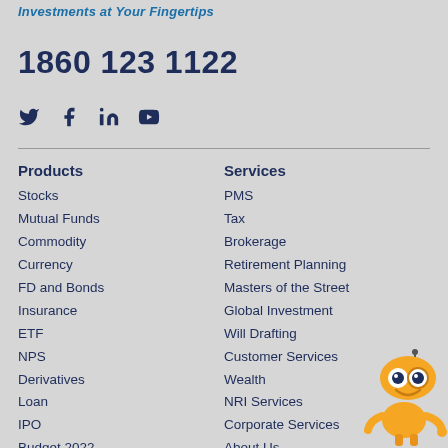Investments at Your Fingertips
1860 123 1122
[Figure (illustration): Social media icons: Twitter, Facebook, LinkedIn, YouTube]
Products
Stocks
Mutual Funds
Commodity
Currency
FD and Bonds
Insurance
ETF
NPS
Derivatives
Loan
IPO
Budget 2022
Services
PMS
Tax
Brokerage
Retirement Planning
Masters of the Street
Global Investment
Will Drafting
Customer Services
Wealth
NRI Services
Corporate Services
About Us
[Figure (illustration): Orange robot mascot character]